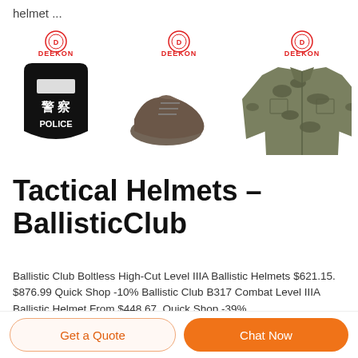helmet ...
[Figure (photo): Three product images side by side with DEEKON logos: a black police shield with Chinese characters 警察 and POLICE text, a pair of brown/grey tactical boots/shoes, and a military camouflage jacket/shirt.]
Tactical Helmets – BallisticClub
Ballistic Club Boltless High-Cut Level IIIA Ballistic Helmets $621.15. $876.99 Quick Shop -10% Ballistic Club B317 Combat Level IIIA Ballistic Helmet From $448.67. Quick Shop -39% Ballistic Club Ultra Light Weight High-Cut Tactical helmet
Get a Quote
Chat Now